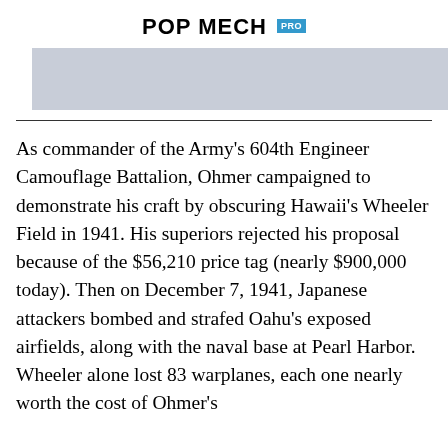POP MECH PRO
[Figure (photo): Faded/blurred image banner at top of article, appears to be a historical aerial or camouflage-related photograph]
As commander of the Army's 604th Engineer Camouflage Battalion, Ohmer campaigned to demonstrate his craft by obscuring Hawaii's Wheeler Field in 1941. His superiors rejected his proposal because of the $56,210 price tag (nearly $900,000 today). Then on December 7, 1941, Japanese attackers bombed and strafed Oahu's exposed airfields, along with the naval base at Pearl Harbor. Wheeler alone lost 83 warplanes, each one nearly worth the cost of Ohmer's